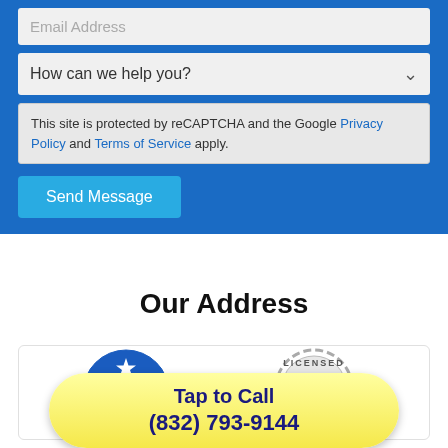Email Address
How can we help you?
This site is protected by reCAPTCHA and the Google Privacy Policy and Terms of Service apply.
Send Message
Our Address
[Figure (logo): Veteran Owned & Operated Business circular badge with blue background and red/white stripes]
[Figure (logo): Licensed Insured stamp badge with blue ribbon and gear/cog border]
Tap to Call (832) 793-9144